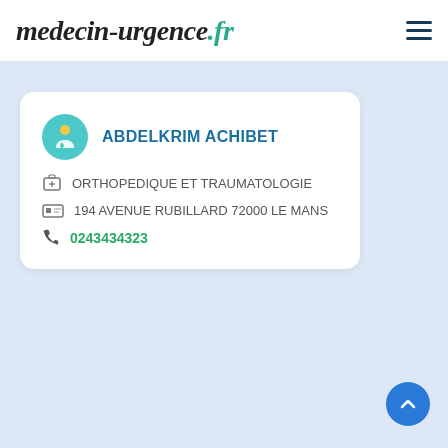medecin-urgence.fr
ABDELKRIM ACHIBET
ORTHOPEDIQUE ET TRAUMATOLOGIE
194 AVENUE RUBILLARD 72000 LE MANS
0243434323